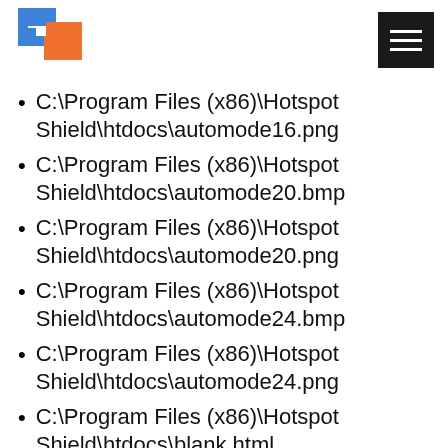Hotspot Shield logo and navigation menu
C:\Program Files (x86)\Hotspot Shield\htdocs\automode16.png
C:\Program Files (x86)\Hotspot Shield\htdocs\automode20.bmp
C:\Program Files (x86)\Hotspot Shield\htdocs\automode20.png
C:\Program Files (x86)\Hotspot Shield\htdocs\automode24.bmp
C:\Program Files (x86)\Hotspot Shield\htdocs\automode24.png
C:\Program Files (x86)\Hotspot Shield\htdocs\blank.html
C:\Program Files (x86)\Hotspot Shield\htdocs\common.css
C:\Program Files (x86)\Hotspot Shield\htdocs\common.js